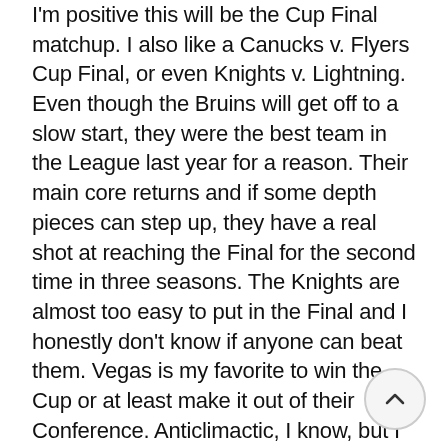I'm positive this will be the Cup Final matchup. I also like a Canucks v. Flyers Cup Final, or even Knights v. Lightning. Even though the Bruins will get off to a slow start, they were the best team in the League last year for a reason. Their main core returns and if some depth pieces can step up, they have a real shot at reaching the Final for the second time in three seasons. The Knights are almost too easy to put in the Final and I honestly don't know if anyone can beat them. Vegas is my favorite to win the Cup or at least make it out of their Conference. Anticlimactic, I know, but I seriously can't commit to a winner right now. When I revisit these predictions halfway through the season, I'll commit